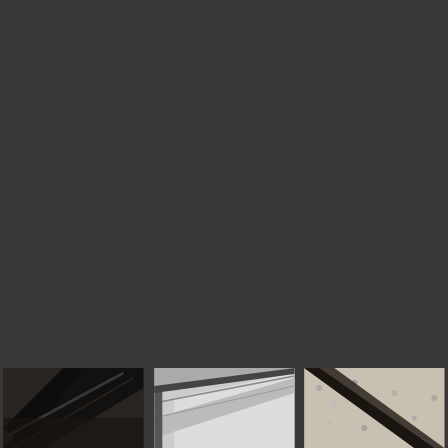[Figure (photo): Dark gray background taking up most of the page, with three small photos visible at the bottom: left photo shows dark metal/rail structure at an angle, center photo shows a light-colored angled surface or skylight from below, right photo shows a light gravel or stone surface with dark diagonal element.]